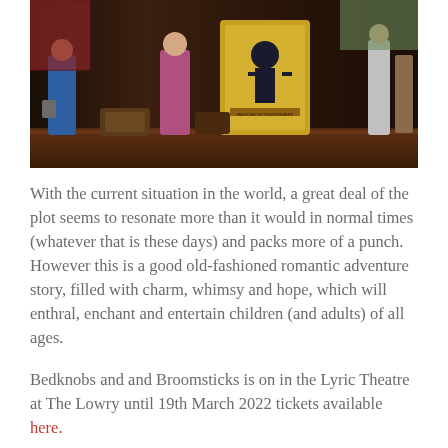[Figure (photo): A theatrical stage scene from Bedknobs and Broomsticks at The Lowry. Dark stage with costumed performers, colorful set dressing including a large illustrated poster reading 'MAGICIAN EXTRAORDINAIRE', period furniture and props visible.]
With the current situation in the world, a great deal of the plot seems to resonate more than it would in normal times (whatever that is these days) and packs more of a punch. However this is a good old-fashioned romantic adventure story, filled with charm, whimsy and hope, which will enthral, enchant and entertain children (and adults) of all ages.
Bedknobs and and Broomsticks is on in the Lyric Theatre at The Lowry until 19th March 2022 tickets available here.